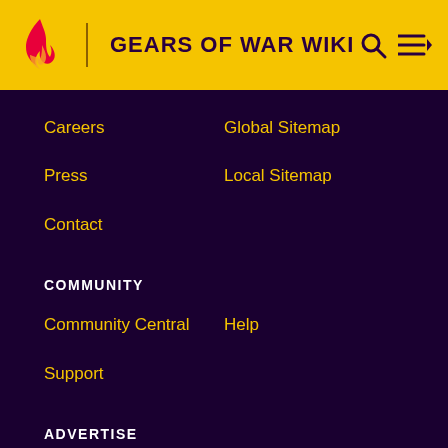GEARS OF WAR WIKI
Careers
Global Sitemap
Press
Local Sitemap
Contact
COMMUNITY
Community Central
Help
Support
ADVERTISE
Media Kit
Fandomatic
Contact